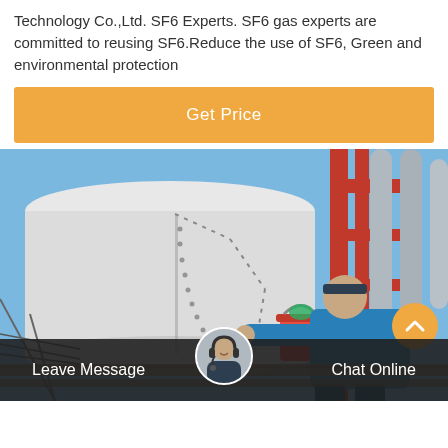Technology Co.,Ltd. SF6 Experts. SF6 gas experts are committed to reusing SF6.Reduce the use of SF6, Green and environmental protection
Get Price
[Figure (photo): Industrial worker in blue uniform working on large white cylindrical equipment (likely SF6 gas insulated switchgear/transformer) on a structure with red metal framework and gray cylinders against a blue sky background.]
Leave Message
Chat Online